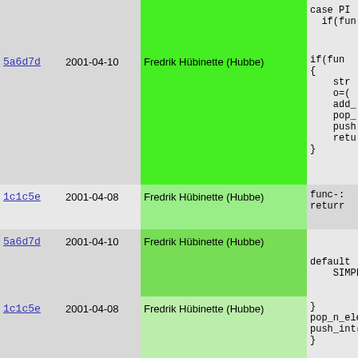| hash | date | author | code |
| --- | --- | --- | --- |
|  |  |  | case PI
    if(fun |
| 5a6d7d | 2001-04-10 | Fredrik Hübinette (Hubbe) | if(fun
{
    str
    o=(
    add_
    pop_
    push
    retu
} |
| 1c1c5e | 2001-04-08 | Fredrik Hübinette (Hubbe) | func-:
returr |
| 5a6d7d | 2001-04-10 | Fredrik Hübinette (Hubbe) | 

default
    SIMPLE |
| 1c1c5e | 2001-04-08 | Fredrik Hübinette (Hubbe) | }
pop_n_elen
push_int(0
} |
| d95fa8 | 2001-06-05 | Fredrik Hübinette (Hubbe) | /*! @decl ir
 *!
 *!    This t |